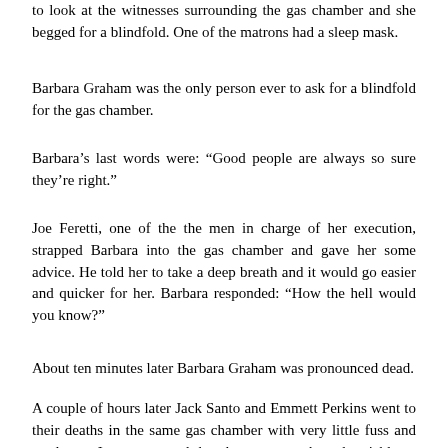to look at the witnesses surrounding the gas chamber and she begged for a blindfold. One of the matrons had a sleep mask.
Barbara Graham was the only person ever to ask for a blindfold for the gas chamber.
Barbara's last words were: “Good people are always so sure they’re right.”
Joe Feretti, one of the the men in charge of her execution, strapped Barbara into the gas chamber and gave her some advice. He told her to take a deep breath and it would go easier and quicker for her. Barbara responded: “How the hell would you know?”
About ten minutes later Barbara Graham was pronounced dead.
A couple of hours later Jack Santo and Emmett Perkins went to their deaths in the same gas chamber with very little fuss and no drama. It was reported that the two men chatted amiably as they were strapped in to their respective chairs, and when they were ready to go Perkins allegedly said to the assembled cops: “Now